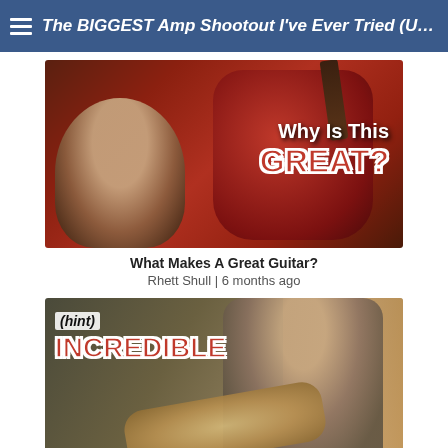The BIGGEST Amp Shootout I've Ever Tried (UA FX ...
[Figure (screenshot): YouTube video thumbnail showing a bearded man looking up at a red electric guitar (SG style) with text 'Why Is This GREAT?']
What Makes A Great Guitar?
Rhett Shull | 6 months ago
[Figure (screenshot): YouTube video thumbnail showing a man playing an acoustic guitar with overlaid text '(hint) INCREDIBLE']
I Play An 80 Year Old Guitar...How Does It Sound?